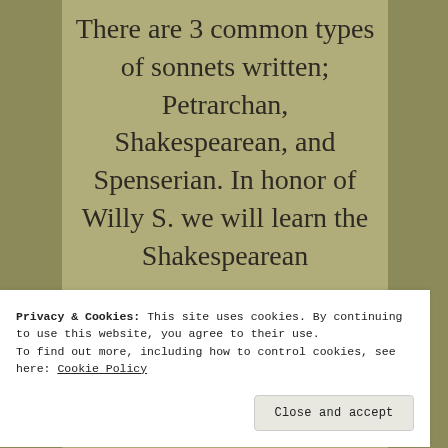There are 3 common types of sonnets written; Petrarchan, Shakespearean, and Spenserian. In honor of Willy S. we will learn the Shakespearean
Privacy & Cookies: This site uses cookies. By continuing to use this website, you agree to their use.
To find out more, including how to control cookies, see here: Cookie Policy
Close and accept